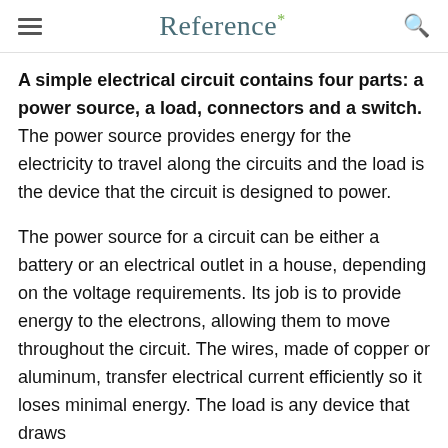Reference*
A simple electrical circuit contains four parts: a power source, a load, connectors and a switch. The power source provides energy for the electricity to travel along the circuits and the load is the device that the circuit is designed to power.
The power source for a circuit can be either a battery or an electrical outlet in a house, depending on the voltage requirements. Its job is to provide energy to the electrons, allowing them to move throughout the circuit. The wires, made of copper or aluminum, transfer electrical current efficiently so it loses minimal energy. The load is any device that draws